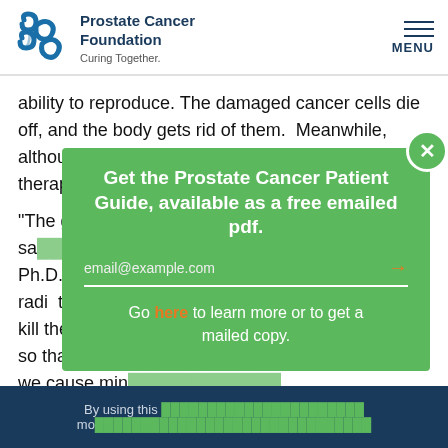Prostate Cancer Foundation | Curing Together.
ability to reproduce. The damaged cancer cells die off, and the body gets rid of them.  Meanwhile, although normal cells are affected by the radiation therapy, too, they are able to repair themselves.
“The goal,” sa... Ph.D., “is to deliver a powerful dose of radiation that will kill the cancer but to do it as precisely as possible so that we cause minimal...
[Figure (screenshot): Popup modal with green background. Title: 'Get the Prostate Cancer Patient Guide, available as a free emailed pdf.' Email input field with placeholder 'email@example.com' and orange arrow button. Text below: 'Go here to learn more or to get a mailed copy.']
By using this ... more...